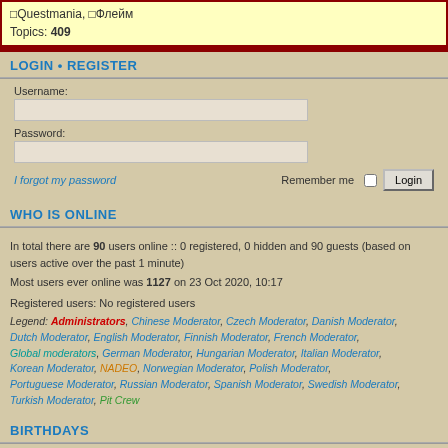Questmania, Флейм Topics: 409
LOGIN • REGISTER
Username:
Password:
I forgot my password   Remember me  [checkbox]  Login
WHO IS ONLINE
In total there are 90 users online :: 0 registered, 0 hidden and 90 guests (based on users active over the past 1 minute)
Most users ever online was 1127 on 23 Oct 2020, 10:17
Registered users: No registered users
Legend: Administrators, Chinese Moderator, Czech Moderator, Danish Moderator, Dutch Moderator, English Moderator, Finnish Moderator, French Moderator, Global moderators, German Moderator, Hungarian Moderator, Italian Moderator, Korean Moderator, NADEO, Norwegian Moderator, Polish Moderator, Portuguese Moderator, Russian Moderator, Spanish Moderator, Swedish Moderator, Turkish Moderator, Pit Crew
BIRTHDAYS
Congratulations to: Forge_maniac (37), kalimerre (29), AxThirnus (25)